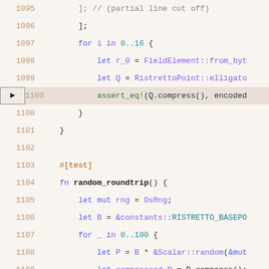[Figure (screenshot): Code editor screenshot showing Rust source code lines 1095-1115. Line 1100 is highlighted with a right-arrow marker. Code includes test functions random_roundtrip and double_and_compress_1024_random_point.]